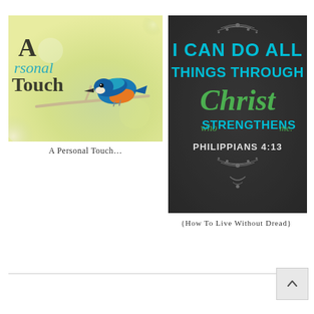[Figure (photo): A kingfisher bird perched on a branch with green bokeh background, overlaid with text 'A Personal Touch']
A Personal Touch…
[Figure (illustration): Dark chalkboard-style image with text 'I CAN DO ALL THINGS THROUGH Christ who STRENGTHENS me. PHILIPPIANS 4:13' in blue and green chalk lettering with decorative flourishes]
{How To Live Without Dread}